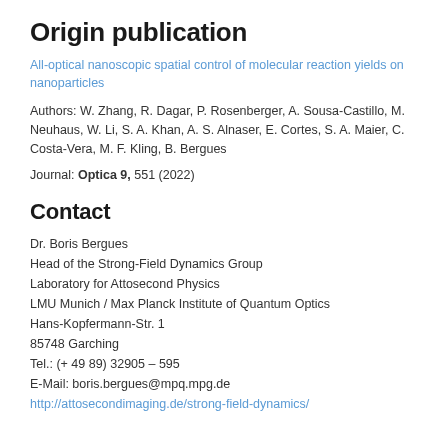Origin publication
All-optical nanoscopic spatial control of molecular reaction yields on nanoparticles
Authors: W. Zhang, R. Dagar, P. Rosenberger, A. Sousa-Castillo, M. Neuhaus, W. Li, S. A. Khan, A. S. Alnaser, E. Cortes, S. A. Maier, C. Costa-Vera, M. F. Kling, B. Bergues
Journal: Optica 9, 551 (2022)
Contact
Dr. Boris Bergues
Head of the Strong-Field Dynamics Group
Laboratory for Attosecond Physics
LMU Munich / Max Planck Institute of Quantum Optics
Hans-Kopfermann-Str. 1
85748 Garching
Tel.: (+ 49 89) 32905 – 595
E-Mail: boris.bergues@mpq.mpg.de
http://attosecondimaging.de/strong-field-dynamics/